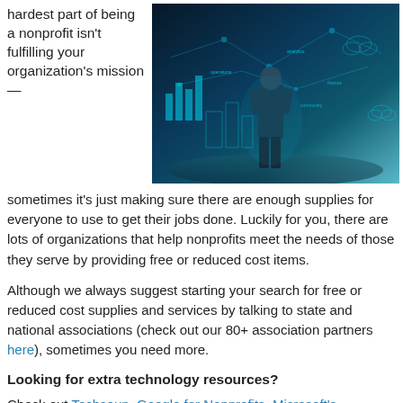hardest part of being a nonprofit isn't fulfilling your organization's mission —
[Figure (photo): Man in suit standing in front of a glowing digital city/technology visualization with charts, icons, and network diagrams.]
sometimes it's just making sure there are enough supplies for everyone to use to get their jobs done. Luckily for you, there are lots of organizations that help nonprofits meet the needs of those they serve by providing free or reduced cost items.
Although we always suggest starting your search for free or reduced cost supplies and services by talking to state and national associations (check out our 80+ association partners here), sometimes you need more.
Looking for extra technology resources?
Check out Techsoup, Google for Nonprofits, Microsoft's Technology for Good program, the Salesforce Foundation,